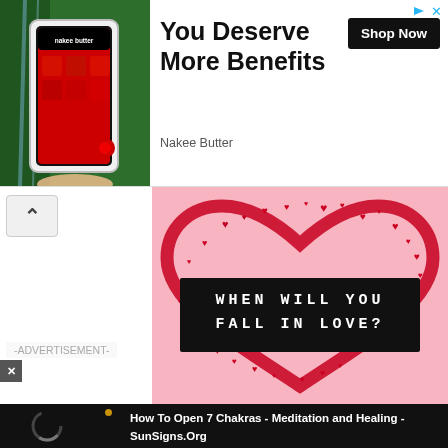[Figure (screenshot): Advertisement banner: photo of hand holding a phone with Nakee Butter app, alongside text 'You Deserve More Benefits', 'Shop Now' button, 'Nakee Butter' brand name, and ad indicator icons]
[Figure (screenshot): Pink background heart made of red brush strokes with small red hearts scattered, containing a black rectangle banner with white text 'WHEN WILL YOU FALL IN LOVE?']
-ADVERTISEMENT-
[Figure (screenshot): Dark/black video player thumbnail showing a circular loading spinner and small gold dot, with text overlay 'How To Open 7 Chakras - Meditation and Healing - SunSigns.Org']
Now Available:
Yearly 2022 Horoscope Predictions
Aries 2022 Horoscope